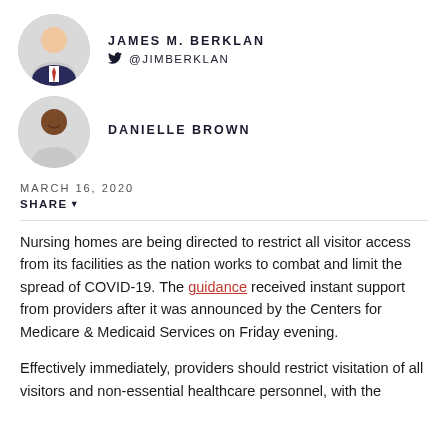JAMES M. BERKLAN
@JIMBERKLAN
DANIELLE BROWN
MARCH 16, 2020
SHARE
Nursing homes are being directed to restrict all visitor access from its facilities as the nation works to combat and limit the spread of COVID-19. The guidance received instant support from providers after it was announced by the Centers for Medicare & Medicaid Services on Friday evening.
Effectively immediately, providers should restrict visitation of all visitors and non-essential healthcare personnel, with the